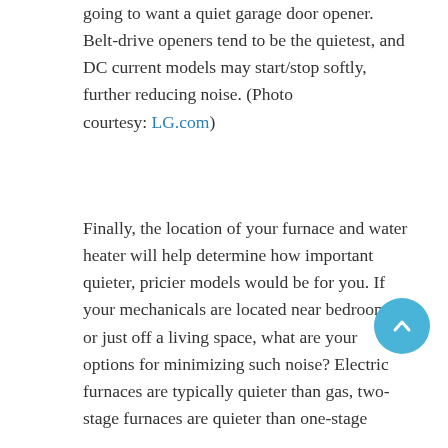going to want a quiet garage door opener. Belt-drive openers tend to be the quietest, and DC current models may start/stop softly, further reducing noise. (Photo courtesy: LG.com)
Finally, the location of your furnace and water heater will help determine how important quieter, pricier models would be for you. If your mechanicals are located near bedrooms or just off a living space, what are your options for minimizing such noise? Electric furnaces are typically quieter than gas, two-stage furnaces are quieter than one-stage